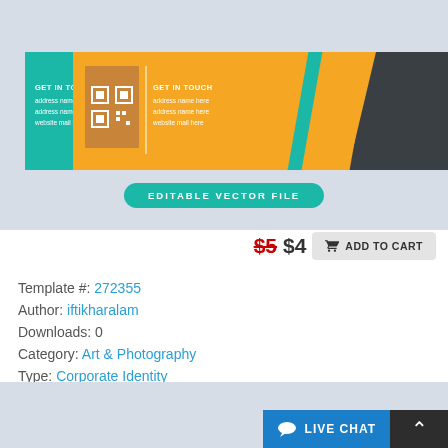[Figure (illustration): Product preview showing two business card templates — one teal/dark and one orange/dark — with an 'EDITABLE VECTOR FILE' button overlay, on a light blue-grey background.]
$5 $4  ADD TO CART
Template #: 272355
Author: iftikharalam
Downloads: 0
Category: Art & Photography
Type: Corporate Identity
View: Live Demo or More Info
Alternate Live Demo: Click Here
[Figure (screenshot): Bottom grey banner section with LIVE CHAT button and scroll-to-top arrow button.]